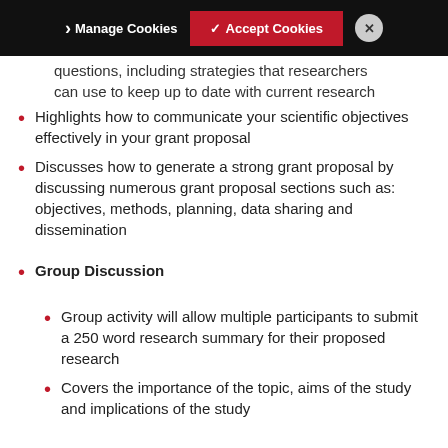Manage Cookies | Accept Cookies
questions, including strategies that researchers can use to keep up to date with current research
Highlights how to communicate your scientific objectives effectively in your grant proposal
Discusses how to generate a strong grant proposal by discussing numerous grant proposal sections such as: objectives, methods, planning, data sharing and dissemination
Group Discussion
Group activity will allow multiple participants to submit a 250 word research summary for their proposed research
Covers the importance of the topic, aims of the study and implications of the study